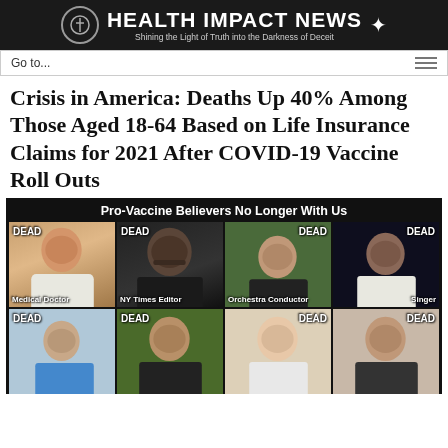HEALTH IMPACT NEWS — Shining the Light of Truth into the Darkness of Deceit
Crisis in America: Deaths Up 40% Among Those Aged 18-64 Based on Life Insurance Claims for 2021 After COVID-19 Vaccine Roll Outs
[Figure (photo): Grid of 8 photos labeled 'Pro-Vaccine Believers No Longer With Us' with DEAD overlaid on each photo. Row 1: Medical Doctor, NY Times Editor, Orchestra Conductor, Singer. Row 2: four more individuals, all labeled DEAD.]